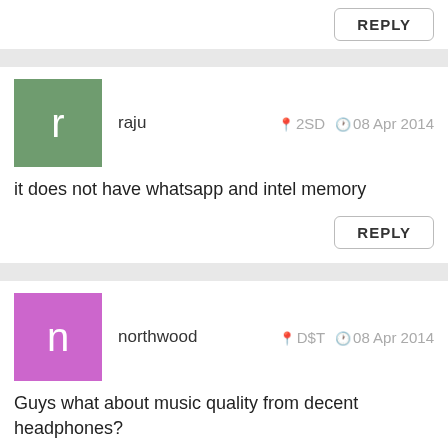REPLY
raju · 2SD · 08 Apr 2014
it does not have whatsapp and intel memory
REPLY
northwood · D$T · 08 Apr 2014
Guys what about music quality from decent headphones?
REPLY